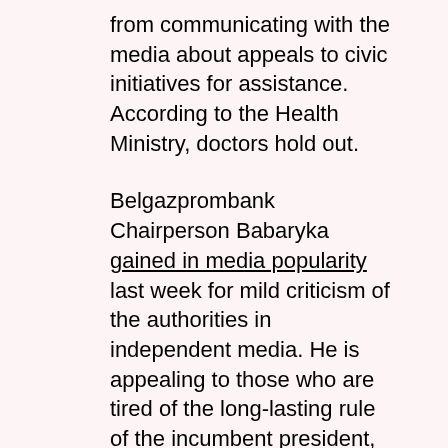from communicating with the media about appeals to civic initiatives for assistance. According to the Health Ministry, doctors hold out.
Belgazprombank Chairperson Babaryka gained in media popularity last week for mild criticism of the authorities in independent media. He is appealing to those who are tired of the long-lasting rule of the incumbent president, including among businesses and managers.
The expert community has initiated a discussion about the need to consolidate society in the face of an increasing threat to Belarusian sovereignty amidst the crippling economic crisis and falling confidence in public institutions.
In turn, youth activists and bloggers have